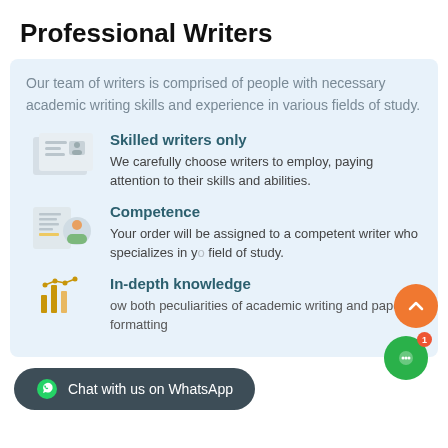Professional Writers
Our team of writers is comprised of people with necessary academic writing skills and experience in various fields of study.
Skilled writers only
We carefully choose writers to employ, paying attention to their skills and abilities.
Competence
Your order will be assigned to a competent writer who specializes in your field of study.
In-depth knowledge
ow both peculiarities of academic writing and paper formatting rules.